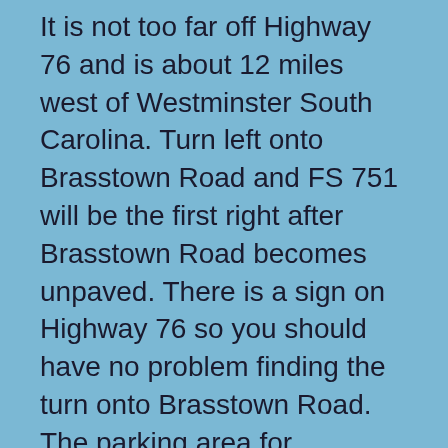It is not too far off Highway 76 and is about 12 miles west of Westminster South Carolina. Turn left onto Brasstown Road and FS 751 will be the first right after Brasstown Road becomes unpaved. There is a sign on Highway 76 so you should have no problem finding the turn onto Brasstown Road. The parking area for Brasstown Falls is kind of small but there is plenty of overflow parking on the forest road if needed. Brasstown Falls is about 90 minutes from Greenville South Carolina or 2 hours 30 minutes from Atlanta Georgia. There are no restroom facilities on site.
The trailhead starts at the end of the parking area just past the large boulders. The trail is wide, flat, easy to follow, and is marked with